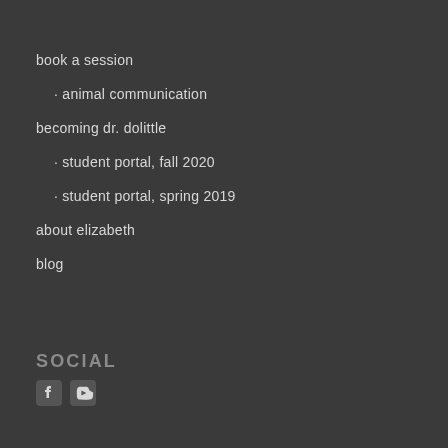book a session
· animal communication
becoming dr. dolittle
· student portal, fall 2020
· student portal, spring 2019
about elizabeth
blog
SOCIAL
[Figure (other): Social media icons: Facebook and another icon (possibly YouTube or Twitter)]